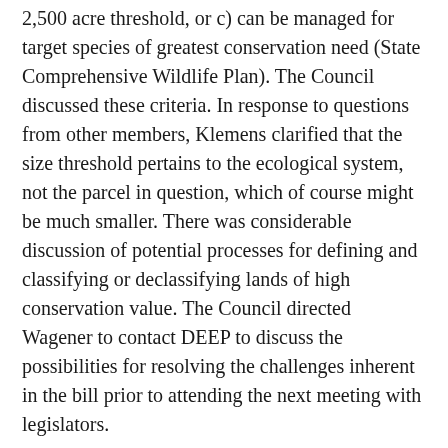2,500 acre threshold, or c) can be managed for target species of greatest conservation need (State Comprehensive Wildlife Plan). The Council discussed these criteria. In response to questions from other members, Klemens clarified that the size threshold pertains to the ecological system, not the parcel in question, which of course might be much smaller. There was considerable discussion of potential processes for defining and classifying or declassifying lands of high conservation value. The Council directed Wagener to contact DEEP to discuss the possibilities for resolving the challenges inherent in the bill prior to attending the next meeting with legislators.
Wagener added that the Connecticut Forest and Park Association will be holding a public meeting to discuss the idea of amending the state constitution to protect state lands on Friday, March 7.